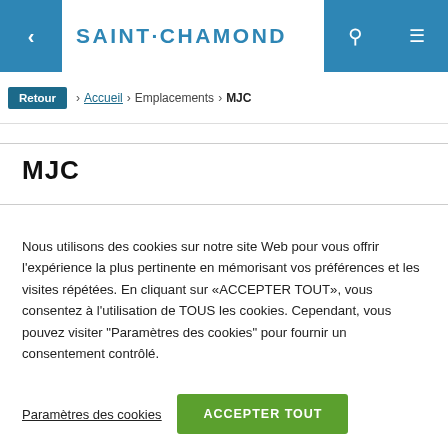SAINT·CHAMOND
Retour > Accueil > Emplacements > MJC
MJC
Nous utilisons des cookies sur notre site Web pour vous offrir l'expérience la plus pertinente en mémorisant vos préférences et les visites répétées. En cliquant sur «ACCEPTER TOUT», vous consentez à l'utilisation de TOUS les cookies. Cependant, vous pouvez visiter "Paramètres des cookies" pour fournir un consentement contrôlé.
Paramètres des cookies | ACCEPTER TOUT